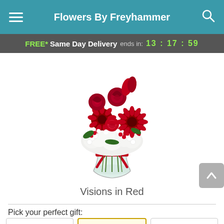Flowers By Freyhammer
FREE* Same Day Delivery ends in: 13 : 17 : 59
[Figure (photo): A floral arrangement called 'Visions in Red' showing red roses, red gerbera daisies, red carnations, white hydrangeas, and assorted red and white flowers in a clear glass vase tied with a red ribbon bow.]
Visions in Red
Pick your perfect gift: